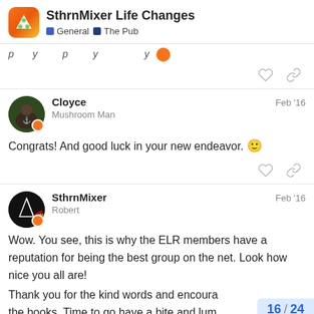SthrnMixer Life Changes — General | The Pub
[partial text cut off]
Cloyce — Mushroom Man — Feb '16
Congrats! And good luck in your new endeavor. 😀
SthrnMixer — Robert — Feb '16
Wow. You see, this is why the ELR members have a reputation for being the best group on the net. Look how nice you all are!
Thank you for the kind words and encour... the books. Time to go have a bite and lum...
16 / 24